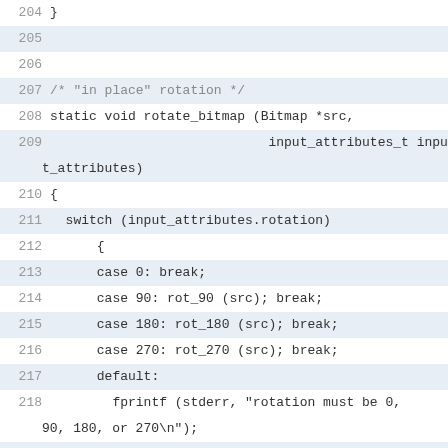Code listing lines 204-223 showing C source code for rotate_bitmap function and SWAP macro definition